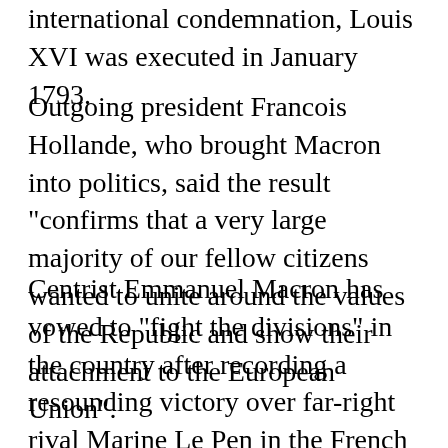international condemnation, Louis XVI was executed in January 1793.
Outgoing president Francois Hollande, who brought Macron into politics, said the result "confirms that a very large majority of our fellow citizens wanted to unite around the values of the Republic and show their attachment to the European Union".
Centrist Emmanuel Macron has vowed to "fight the divisions" in the country after recording a resounding victory over far-right rival Marine Le Pen in the French presidential runoff election. "I have heard